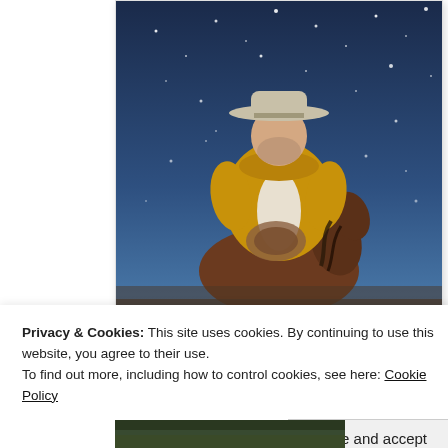[Figure (illustration): Painting of a cowboy in a yellow jacket and white hat riding a horse under a blue starry night sky]
Privacy & Cookies: This site uses cookies. By continuing to use this website, you agree to their use.
To find out more, including how to control cookies, see here: Cookie Policy
Close and accept